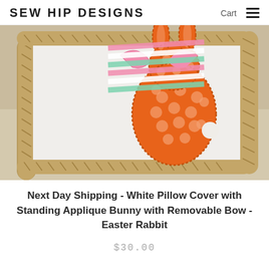SEW HIP DESIGNS    Cart  ☰
[Figure (photo): Close-up photo of a white decorative pillow cover with jute rope border trim, sitting on a beige linen sofa. The pillow features an applique of an orange polka-dot standing bunny rabbit with a colorful striped bow (pink, white, and mint green stripes).]
Next Day Shipping - White Pillow Cover with Standing Applique Bunny with Removable Bow - Easter Rabbit
$30.00